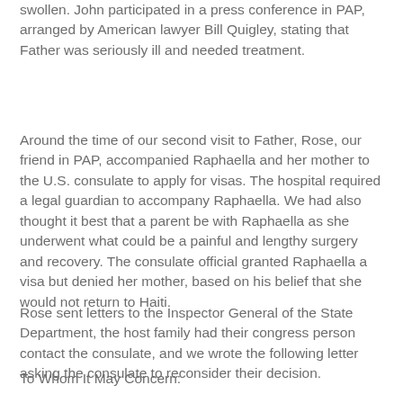swollen. John participated in a press conference in PAP, arranged by American lawyer Bill Quigley, stating that Father was seriously ill and needed treatment.
Around the time of our second visit to Father, Rose, our friend in PAP, accompanied Raphaella and her mother to the U.S. consulate to apply for visas. The hospital required a legal guardian to accompany Raphaella. We had also thought it best that a parent be with Raphaella as she underwent what could be a painful and lengthy surgery and recovery. The consulate official granted Raphaella a visa but denied her mother, based on his belief that she would not return to Haiti.
Rose sent letters to the Inspector General of the State Department, the host family had their congress person contact the consulate, and we wrote the following letter asking the consulate to reconsider their decision.
To Whom It May Concern:
Haitian Hearts is sponsoring the trip of Raphaella Alexandre,